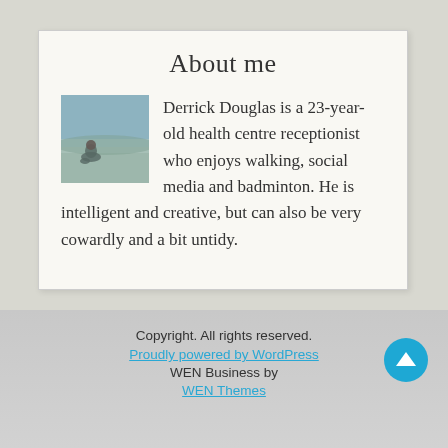About me
[Figure (photo): Small square photo of a person sitting outdoors in a misty/foggy field]
Derrick Douglas is a 23-year-old health centre receptionist who enjoys walking, social media and badminton. He is intelligent and creative, but can also be very cowardly and a bit untidy.
Copyright. All rights reserved.
Proudly powered by WordPress
WEN Business by
WEN Themes